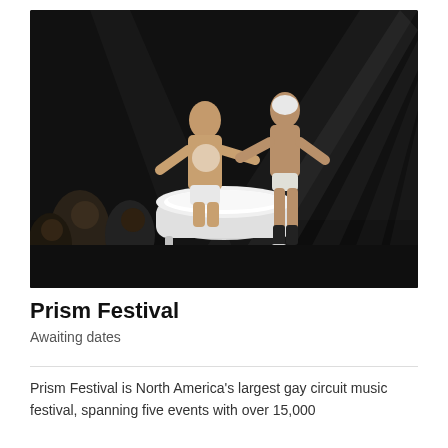[Figure (photo): Two muscular men in white briefs performing on a dark stage with dramatic spotlights. One man is standing in a clawfoot bathtub filled with foam/bubbles, and another is reaching toward him. Audience members visible in background on the left. Cups on the stage floor near the tub.]
Prism Festival
Awaiting dates
Prism Festival is North America's largest gay circuit music festival, spanning five events with over 15,000